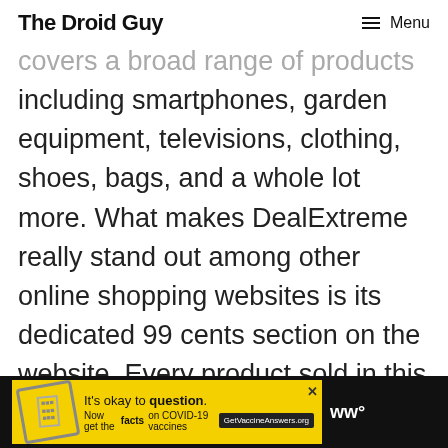The Droid Guy  ≡ Menu
covers a broad range of products including smartphones, garden equipment, televisions, clothing, shoes, bags, and a whole lot more. What makes DealExtreme really stand out among other online shopping websites is its dedicated 99 cents section on the website. Every product sold in this section will only cost $0.99.
[Figure (infographic): Yellow COVID-19 vaccine advertisement banner with stamp icon, text 'It's okay to question. Now get the facts on COVID-19 vaccines GetVaccineAnswers.org', close button, and Wix logo on dark background]